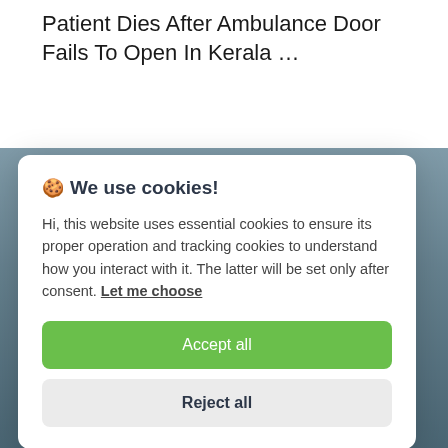Patient Dies After Ambulance Door Fails To Open In Kerala …
[Figure (photo): Background image strip showing a partially visible scene, likely an ambulance or outdoor scene, blurred behind a cookie consent modal overlay]
🍪 We use cookies!
Hi, this website uses essential cookies to ensure its proper operation and tracking cookies to understand how you interact with it. The latter will be set only after consent. Let me choose
Accept all
Reject all